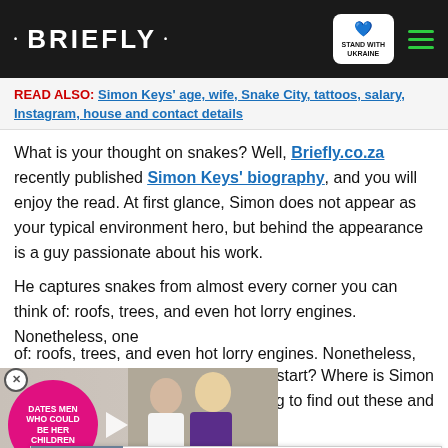• BRIEFLY •
READ ALSO: Simon Keys' age, wife, Snake City, tattoos, salary, Instagram, house and contact details
What is your thought on snakes? Well, Briefly.co.za recently published Simon Keys' biography, and you will enjoy the read. At first glance, Simon does not appear as your typical environment hero, but behind the appearance is a guy passionate about his work.
He captures snakes from almost every corner you can think of: roofs, trees, and even hot lorry engines. Nonetheless, one ...d he start? Where is Simon ...ading to find out these and
[Figure (screenshot): Advertisement overlay showing a pink circle with text 'DATES MEN WHO COULD BE HER CHILDREN', a play button, and a photo of a couple (woman and young man in Lakers jersey). A red scroll-down button with chevron is visible.]
[Figure (screenshot): Ukraine donation banner with text 'Help Protect Ukrainian Families' and a 'DONATE NOW' button, with a Ukraine heart flag emoji.]